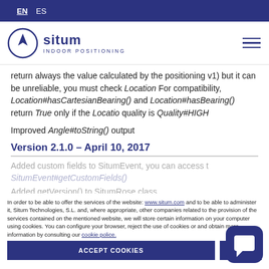EN  ES
[Figure (logo): Situm Indoor Positioning logo with navigation arrow icon in a circle]
return always the value calculated by the positioning v1) but it can be unreliable, you must check Location For compatibility, Location#hasCartesianBearing() and Location#hasBearing() return True only if the Location quality is Quality#HIGH
Improved Angle#toString() output
Version 2.1.0 – April 10, 2017
Added custom fields to SitumEvent, you can access t SitumEvent#getCustomFields()
Added getVersion() to SitumRose class
With Location#... () n... ca... intermediate send data to the component...
In order to be able to offer the services of the website: www.situm.com and to be able to administer it, Situm Technologies, S.L. and, where appropriate, other companies related to the provision of the services contained on the mentioned website, we will store certain information on your computer using cookies. You can configure your browser, reject the use of cookies or obtain more information by consulting our cookie police.